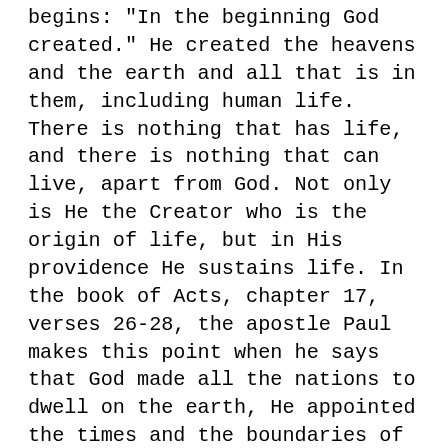begins: "In the beginning God created." He created the heavens and the earth and all that is in them, including human life. There is nothing that has life, and there is nothing that can live, apart from God. Not only is He the Creator who is the origin of life, but in His providence He sustains life. In the book of Acts, chapter 17, verses 26-28, the apostle Paul makes this point when he says that God made all the nations to dwell on the earth, He appointed the times and the boundaries of man's existence. He says that we are God's offspring and that in Him we live, and move, and have our existence. That is the second principle: God is the Creator who gives life. And that is important also from a spiritual point of view. We have our spiritual life from God alone. The third principle behind this commandment is that God is the sovereign over life and death. Or,